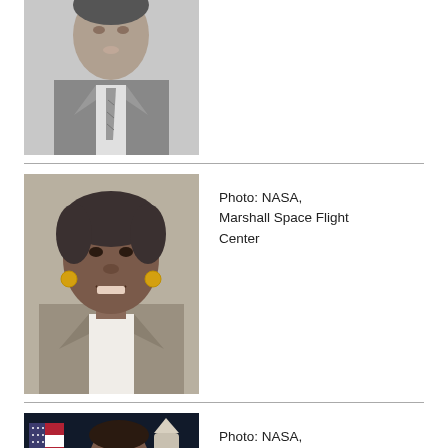[Figure (photo): Black and white portrait photo of a man in a suit and tie, partially cropped at top]
[Figure (photo): Color portrait photo of a smiling African American woman in a gray blazer with hoop earrings]
Photo: NASA, Marshall Space Flight Center
[Figure (photo): Color photo of an African American man in an orange NASA spacesuit with American flag in background]
Photo: NASA, Johnson Space Center (NASA-JSC)